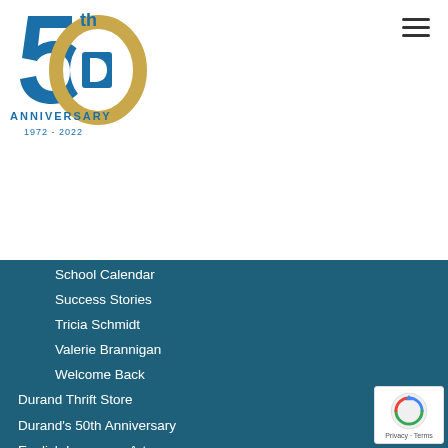[Figure (logo): Durand 50th Anniversary logo: large '50th' text with blue numeral 5 and gold circle O containing the Durand D logo, with 'ANNIVERSARY 1972 - 2022' text below]
[Figure (other): Hamburger menu icon (three horizontal lines) in top right corner]
School Calendar
Success Stories
Tricia Schmidt
Valerie Brannigan
Welcome Back
Durand Thrift Store
Durand's 50th Anniversary
English Language Arts
ESY 2020 Update